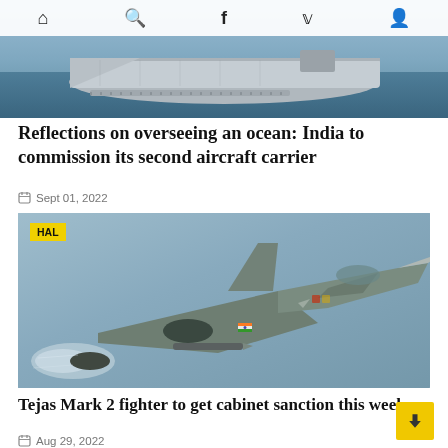Navigation bar with home, search, facebook, twitter, user icons
[Figure (photo): Aerial view of an aircraft carrier at sea, gray hull, full flight deck visible from above, ocean water surrounding it]
Reflections on overseeing an ocean: India to commission its second aircraft carrier
Sept 01, 2022
[Figure (photo): HAL Tejas Mark 2 fighter jet in flight, gray camouflage, Indian Air Force markings, missile under wing, jet exhaust visible, gray sky background. HAL badge in yellow top-left corner.]
Tejas Mark 2 fighter to get cabinet sanction this week
Aug 29, 2022
[Figure (photo): Naval vessel at sea partially visible, gray sky, CHINA badge in yellow top-left corner]